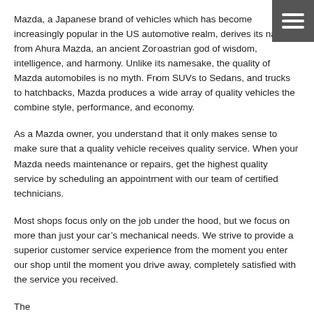Mazda, a Japanese brand of vehicles which has become increasingly popular in the US automotive realm, derives its name from Ahura Mazda, an ancient Zoroastrian god of wisdom, intelligence, and harmony. Unlike its namesake, the quality of Mazda automobiles is no myth. From SUVs to Sedans, and trucks to hatchbacks, Mazda produces a wide array of quality vehicles the combine style, performance, and economy.
As a Mazda owner, you understand that it only makes sense to make sure that a quality vehicle receives quality service. When your Mazda needs maintenance or repairs, get the highest quality service by scheduling an appointment with our team of certified technicians.
Most shops focus only on the job under the hood, but we focus on more than just your car’s mechanical needs. We strive to provide a superior customer service experience from the moment you enter our shop until the moment you drive away, completely satisfied with the service you received.
The...